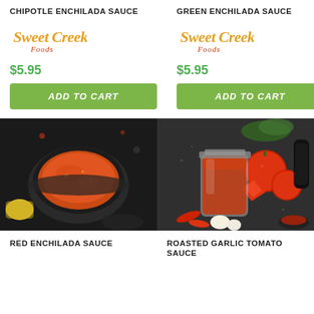CHIPOTLE ENCHILADA SAUCE
[Figure (logo): Sweet Creek Foods logo - top left product]
$5.95
ADD TO CART
GREEN ENCHILADA SAUCE
[Figure (logo): Sweet Creek Foods logo - top right product]
$5.95
ADD TO CART
[Figure (photo): Red enchilada sauce in a dark stone mortar bowl with garnishes on a black background]
[Figure (photo): Roasted garlic tomato sauce in a glass jar surrounded by tomatoes, garlic, and peppers on a dark background]
RED ENCHILADA SAUCE
ROASTED GARLIC TOMATO SAUCE